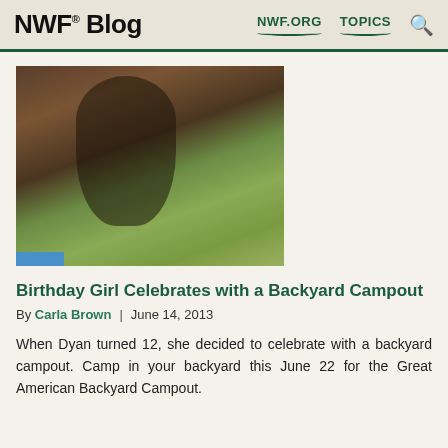NWF® Blog  NWF.ORG  TOPICS
[Figure (photo): A young girl crouching in a backyard, handling a blue sleeping bag or gear on grass, with a wooden fence behind her. A small blue rectangle appears at bottom left.]
Birthday Girl Celebrates with a Backyard Campout
By Carla Brown  |  June 14, 2013
When Dyan turned 12, she decided to celebrate with a backyard campout. Camp in your backyard this June 22 for the Great American Backyard Campout.